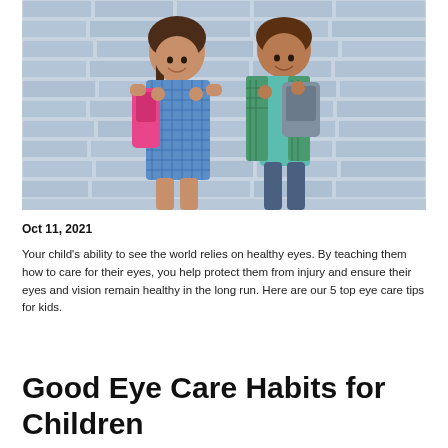[Figure (photo): Two smiling school-age children (a girl wearing a blue checkered dress with a pink backpack and a boy wearing a teal shirt and green plaid shirt with a grey backpack) standing in front of a blue brick wall.]
Oct 11, 2021
Your child's ability to see the world relies on healthy eyes. By teaching them how to care for their eyes, you help protect them from injury and ensure their eyes and vision remain healthy in the long run. Here are our 5 top eye care tips for kids.
Good Eye Care Habits for Children